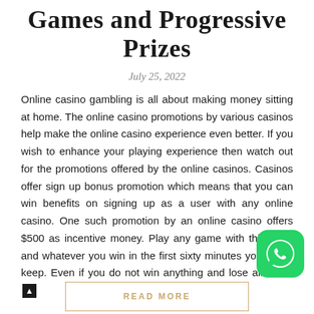Games and Progressive Prizes
July 25, 2022
Online casino gambling is all about making money sitting at home. The online casino promotions by various casinos help make the online casino experience even better. If you wish to enhance your playing experience then watch out for the promotions offered by the online casinos. Casinos offer sign up bonus promotion which means that you can win benefits on signing up as a user with any online casino. One such promotion by an online casino offers $500 as incentive money. Play any game with this $500 and whatever you win in the first sixty minutes you get to keep. Even if you do not win anything and lose all the...
[Figure (logo): WhatsApp icon button (green rounded square with white phone icon)]
READ MORE